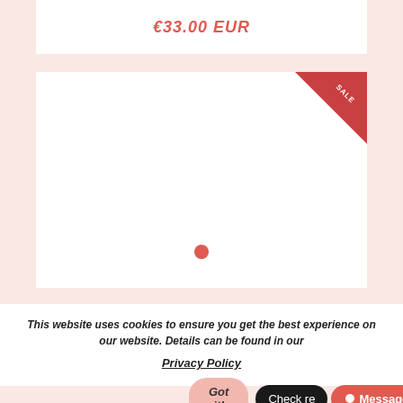€33.00 EUR
[Figure (screenshot): White product card with a red SALE corner badge and a red dot indicator at the bottom center]
This website uses cookies to ensure you get the best experience on our website. Details can be found in our Privacy Policy
Got it!
Check re
Message